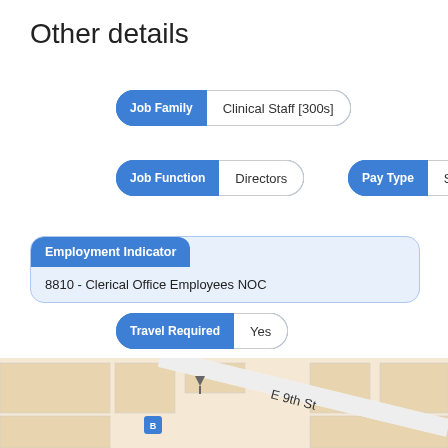Other details
Job Family: Clinical Staff [300s]
Job Function: Directors | Pay Type: Salary
Employment Indicator: 8810 - Clerical Office Employees NOC
Travel Required: Yes
Required Education: Master's Degree
This posting is inactive.
[Figure (illustration): Up arrow circular button icon]
[Figure (map): Street map showing E 9th St with bus stop marker]